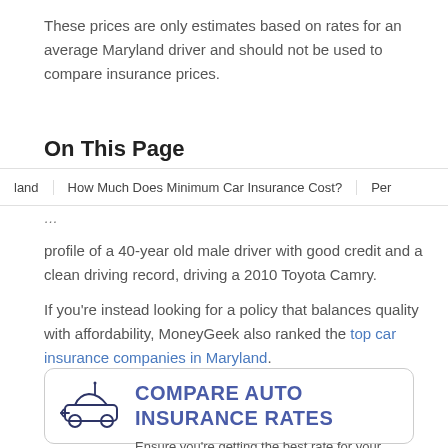These prices are only estimates based on rates for an average Maryland driver and should not be used to compare insurance prices.
On This Page
land   How Much Does Minimum Car Insurance Cost?   Per
profile of a 40-year old male driver with good credit and a clean driving record, driving a 2010 Toyota Camry.
If you're instead looking for a policy that balances quality with affordability, MoneyGeek also ranked the top car insurance companies in Maryland.
[Figure (illustration): A bordered card with a car icon on the left and the heading COMPARE AUTO INSURANCE RATES with subtitle text: Ensure you're getting the best rate for your auto]